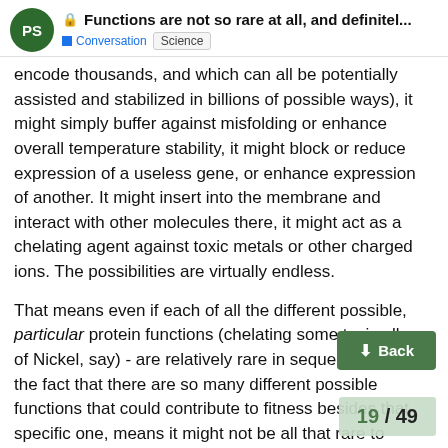Functions are not so rare at all, and definitel... | Conversation | Science
encode thousands, and which can all be potentially assisted and stabilized in billions of possible ways), it might simply buffer against misfolding or enhance overall temperature stability, it might block or reduce expression of a useless gene, or enhance expression of another. It might insert into the membrane and interact with other molecules there, it might act as a chelating agent against toxic metals or other charged ions. The possibilities are virtually endless.
That means even if each of all the different possible, particular protein functions (chelating some toxic alloy of Nickel, say) - are relatively rare in sequence space - the fact that there are so many different possible functions that could contribute to fitness besides that specific one, means it might not be all that rare to discover one that is useful. Even if that specific function is rare.
You could have individual functions be (say) as rare as 10^-40 but if there are 10^32 different useful functio... positively affect fitness, then naively you m...